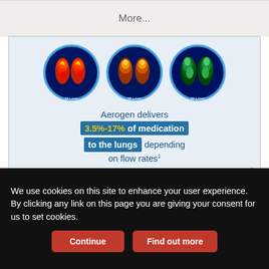More...
[Figure (illustration): Aerogen advertisement showing three lung SPECT scans in circular frames at different flow rates (10 L/min, 30 L/min, 60 L/min), with text reading 'Aerogen delivers 3.5%-17% of medication to the lungs depending on flow rates'. Footer shows 'Discover Better' and 'Aerogen' branding.]
We use cookies on this site to enhance your user experience. By clicking any link on this page you are giving your consent for us to set cookies.
Continue
Find out more